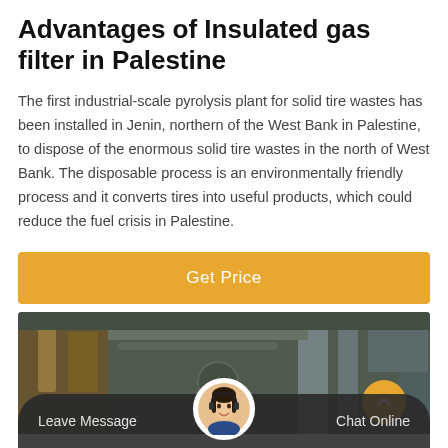Advantages of Insulated gas filter in Palestine
The first industrial-scale pyrolysis plant for solid tire wastes has been installed in Jenin, northern of the West Bank in Palestine, to dispose of the enormous solid tire wastes in the north of West Bank. The disposable process is an environmentally friendly process and it converts tires into useful products, which could reduce the fuel crisis in Palestine.
[Figure (other): Orange 'Get Price' button]
[Figure (photo): Industrial machinery/pipe installation photograph showing an industrial facility interior with pipes and structural elements]
Leave Message   Chat Online